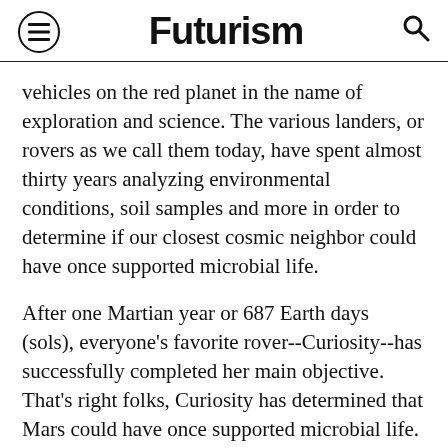Futurism
vehicles on the red planet in the name of exploration and science. The various landers, or rovers as we call them today, have spent almost thirty years analyzing environmental conditions, soil samples and more in order to determine if our closest cosmic neighbor could have once supported microbial life.
After one Martian year or 687 Earth days (sols), everyone's favorite rover--Curiosity--has successfully completed her main objective. That's right folks, Curiosity has determined that Mars could have once supported microbial life. However, her mission is not over and she